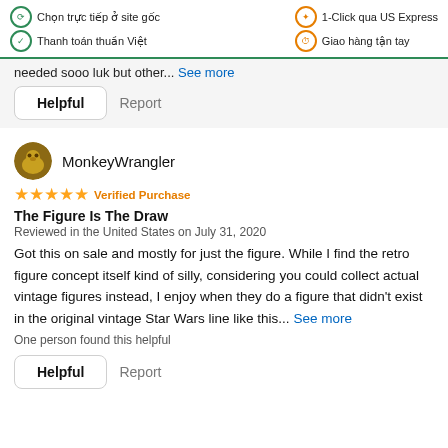Chọn trực tiếp ở site gốc | Thanh toán thuần Việt | 1-Click qua US Express | Giao hàng tận tay
needed sooo luk but other... See more
Helpful  Report
MonkeyWrangler
★★★★★ Verified Purchase
The Figure Is The Draw
Reviewed in the United States on July 31, 2020
Got this on sale and mostly for just the figure. While I find the retro figure concept itself kind of silly, considering you could collect actual vintage figures instead, I enjoy when they do a figure that didn't exist in the original vintage Star Wars line like this... See more
One person found this helpful
Helpful  Report